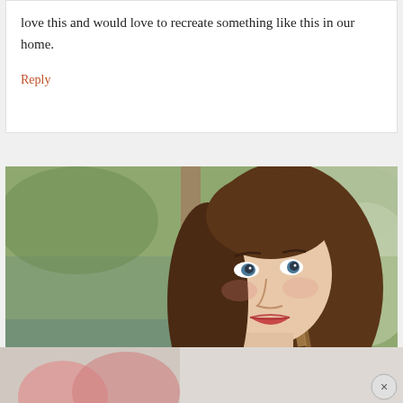love this and would love to recreate something like this in our home.
Reply
[Figure (photo): Portrait photo of a woman with long brown hair with highlights, wearing a red top, smiling slightly, photographed outdoors with a blurred green/natural background with trees and water reflections.]
[Figure (photo): Partial advertisement banner at bottom of page showing a woman in red/pink clothing, with a close (X) button in the bottom right corner.]